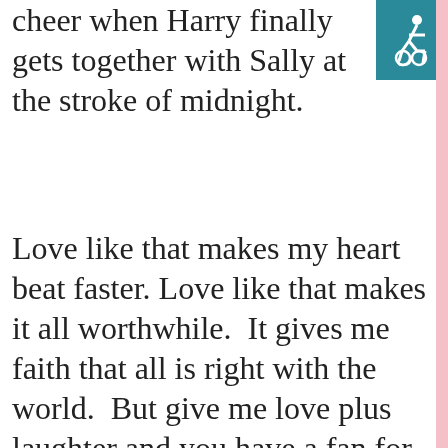cheer when Harry finally gets together with Sally at the stroke of midnight.
Love like that makes my heart beat faster. Love like that makes it all worthwhile.  It gives me faith that all is right with the world.  But give me love plus laughter and you have a fan for life. I certainly appreciate the brooding Fitzwilliam Darcy in
This website uses cookies to improve your experience. We'll assume you're ok with this, but you can opt-out if you wish.